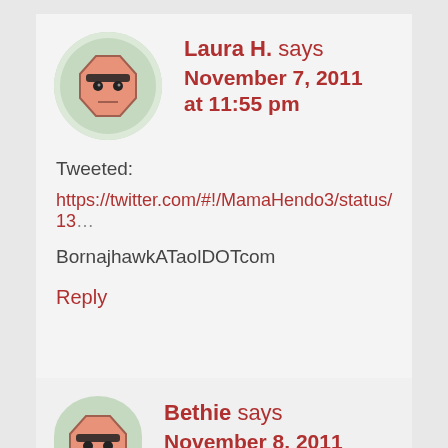[Figure (illustration): Avatar icon: cartoon face with glasses on a green circular background]
Laura H. says November 7, 2011 at 11:55 pm
Tweeted:
https://twitter.com/#!/MamaHendo3/status/13...
BornajhawkATaolDOTcom
Reply
[Figure (illustration): Avatar icon: cartoon face with glasses on a green circular background (partially visible)]
Bethie says November 8, 2011